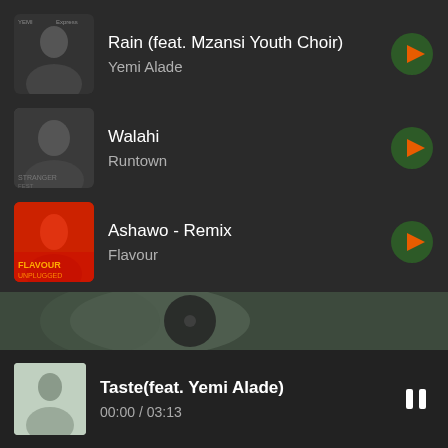Rain (feat. Mzansi Youth Choir) - Yemi Alade
Walahi - Runtown
Ashawo - Remix - Flavour
Medofo - Adina
Mo Salah - Ycee
Taste(feat. Yemi Alade) 00:00 / 03:13